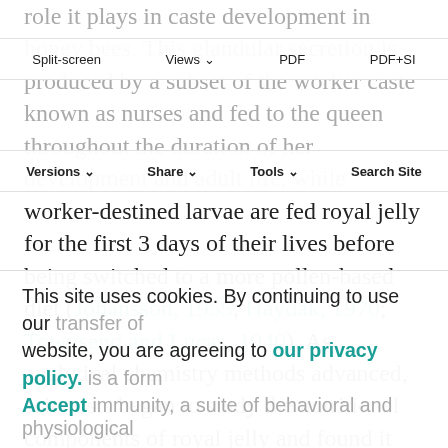role it plays in caste development in honey bees. This glandular secretion is produced by a subset of the worker caste known as nurses and fed to the queen throughout the duration of her development and adult life, while
Split-screen | Views | PDF | PDF+SI | Versions | Share | Tools | Search Site
worker-destined larvae are fed royal jelly for the first 3 days of their lives before being switched to a more pollen-based diet (Johansson, 1955; Haydak, 1970; Townsend and Lucas, 1940). As analytical chemistry methods advanced, scientists began to study the nutritional components of royal jelly and found it contained many pathogen-killing compounds that protect the queen and young larvae from disease (Blum et al., 1959; Fontana et al., 2004; Fujiwara et al., 1990; Okamoto et al., 2003; Romanelli et al., 2011;
This site uses cookies. By continuing to use our website, you are agreeing to our privacy policy.
Accept